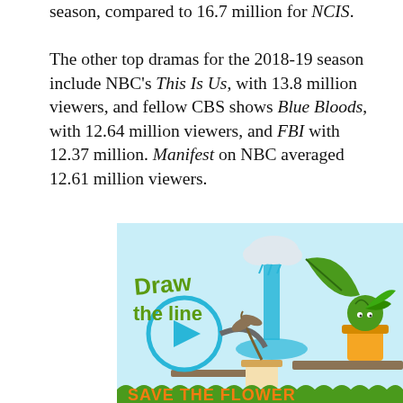season, compared to 16.7 million for NCIS. The other top dramas for the 2018-19 season include NBC's This Is Us, with 13.8 million viewers, and fellow CBS shows Blue Bloods, with 12.64 million viewers, and FBI with 12.37 million. Manifest on NBC averaged 12.61 million viewers.
[Figure (illustration): Animated illustration titled 'Draw the line' showing cartoon plants, a cloud with rain, a play button circle, and text at the bottom reading 'SAVE THE FLOWER' in orange letters. The image is part of a game or interactive media advertisement.]